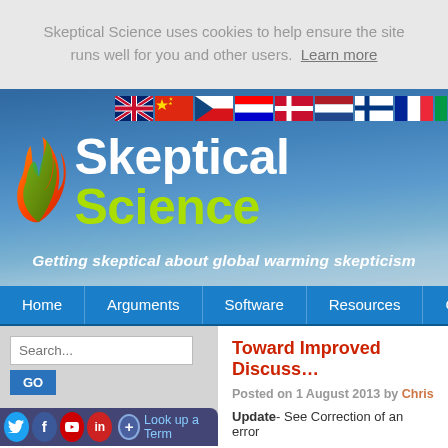Skeptical Science uses cookies to help ensure the site runs well for you and other users. Learn more
[Figure (screenshot): Skeptical Science website header banner with logo (flame and leaf icon), site title 'Skeptical Science', tagline 'Getting skeptical about global warming skepticism', and country flag icons in the top right]
Home  Arguments  Software  Resources  Comments
[Figure (screenshot): Search box with text 'Search...' and GO button, social media icons, and 'Look up a Term' button in the left sidebar]
Toward Improved Discuss
Posted on 1 August 2013 by Chris
Update- See Correction of an error